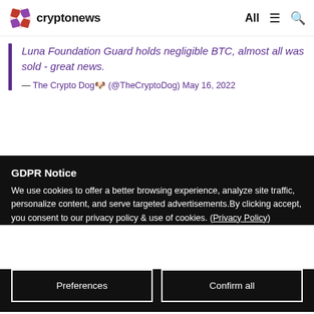cryptonews — All
Luna Foundation Guard holds negligible BTC, almost all was sold - great news.
— The Crypto Dog🐶 (@TheCryptoDog) May 16, 2022
GDPR Notice
We use cookies to offer a better browsing experience, analyze site traffic, personalize content, and serve targeted advertisements.By clicking accept, you consent to our privacy policy & use of cookies. (Privacy Policy)